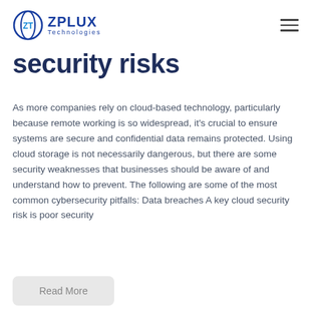ZPLUX Technologies
security risks
As more companies rely on cloud-based technology, particularly because remote working is so widespread, it's crucial to ensure systems are secure and confidential data remains protected. Using cloud storage is not necessarily dangerous, but there are some security weaknesses that businesses should be aware of and understand how to prevent. The following are some of the most common cybersecurity pitfalls: Data breaches A key cloud security risk is poor security
Read More